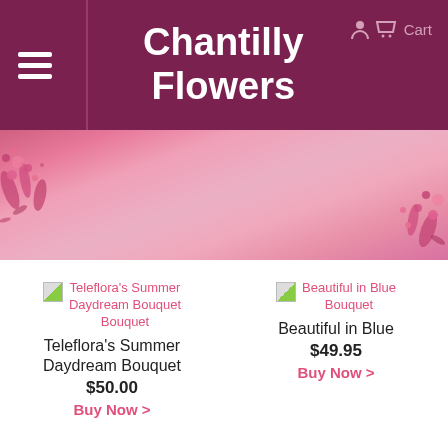Chantilly Flowers
[Figure (photo): Pink floral banner background with pink flowers on left and right edges]
[Figure (photo): Broken image placeholder for Teleflora's Summer Daydream Bouquet]
Teleflora's Summer Daydream Bouquet
$50.00
Buy Now >
[Figure (photo): Broken image placeholder for Beautiful in Blue Bouquet]
Beautiful in Blue
$49.95
Buy Now >